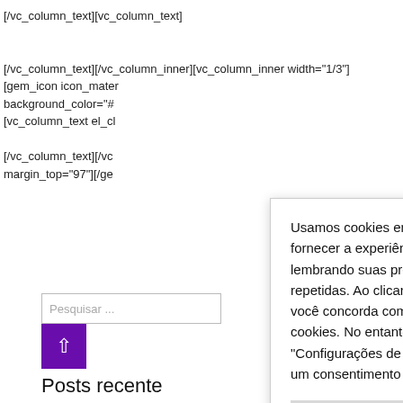[/vc_column_text][vc_column_text]
[/vc_column_text][/vc_column_inner][vc_column_inner width="1/3"]
[gem_icon icon_mater
background_color="#
[vc_column_text el_cl
[/vc_column_text][/vc
margin_top="97"][/ge
[Figure (screenshot): Search input box with placeholder 'Pesquisar ...']
[Figure (screenshot): Purple button with upward arrow icon]
Posts recente
Usamos cookies em nosso site para fornecer a experiência mais relevante, lembrando suas preferências e visitas repetidas. Ao clicar em "Aceitar todos", você concorda com o uso de TODOS os cookies. No entanto, você pode visitar "Configurações de cookies" para fornecer um consentimento controlado.
Configurações de Cookie
Aceitar todos